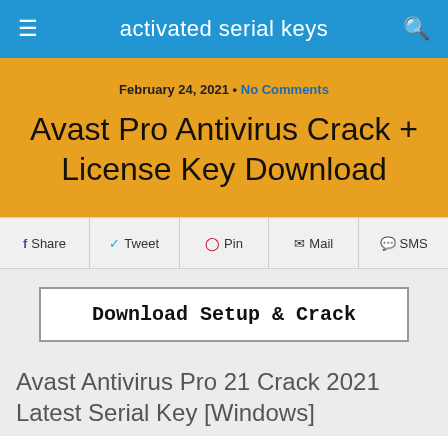activated serial keys
February 24, 2021 • No Comments
Avast Pro Antivirus Crack + License Key Download
f Share  Tweet  Pin  Mail  SMS
Download Setup & Crack
Avast Antivirus Pro 21 Crack 2021 Latest Serial Key [Windows]